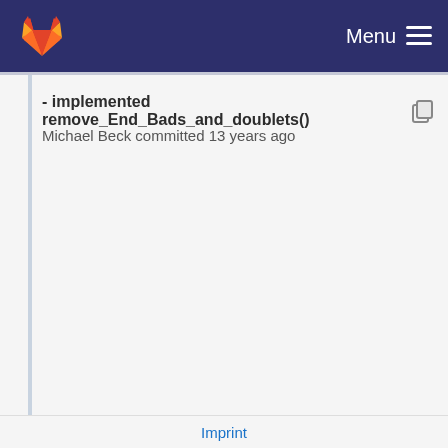[Figure (logo): GitLab fox logo in top-left of dark navy navigation bar]
Menu
- implemented remove_End_Bads_and_doublets()
Michael Beck committed 13 years ago
Imprint